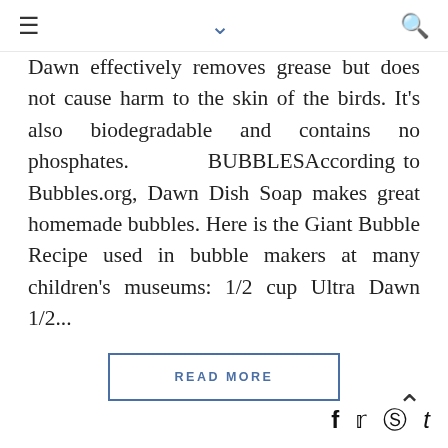≡ ∨ 🔍
Dawn effectively removes grease but does not cause harm to the skin of the birds. It's also biodegradable and contains no phosphates. BUBBLESAccording to Bubbles.org, Dawn Dish Soap makes great homemade bubbles. Here is the Giant Bubble Recipe used in bubble makers at many children's museums: 1/2 cup Ultra Dawn 1/2...
READ MORE
f ♥ ⓟ t